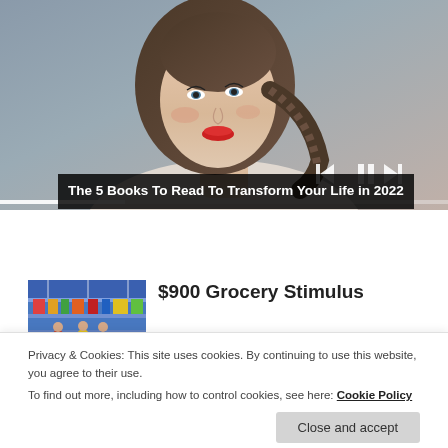[Figure (photo): Portrait photo of a woman with braided hair and red lipstick, light grey background, media player controls overlay at bottom right, progress bar at bottom]
The 5 Books To Read To Transform Your Life in 2022
[Figure (photo): Thumbnail image of a grocery store interior with shoppers]
$900 Grocery Stimulus
Privacy & Cookies: This site uses cookies. By continuing to use this website, you agree to their use.
To find out more, including how to control cookies, see here: Cookie Policy
Close and accept
[Figure (photo): Partial thumbnail of Australian beaches article]
Australian beaches - Can you